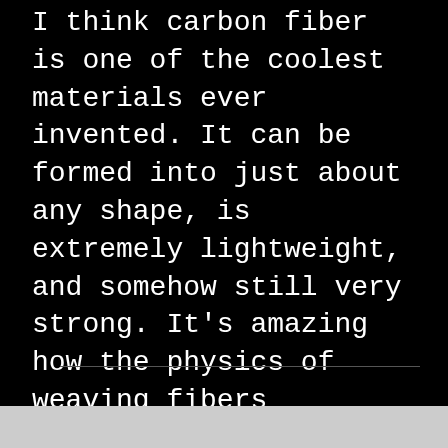I think carbon fiber is one of the coolest materials ever invented. It can be formed into just about any shape, is extremely lightweight, and somehow still very strong. It's amazing how the physics of weaving fibers together and then fixing them with resin provides such properties. I've got quite a few carbon fiber things these days, from a bezel for my watch to the interior of my car to my keychain. One thing I don't have though, is a carbon fiber toilet seat.